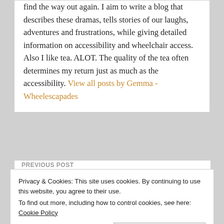find the way out again. I aim to write a blog that describes these dramas, tells stories of our laughs, adventures and frustrations, while giving detailed information on accessibility and wheelchair access. Also I like tea. ALOT. The quality of the tea often determines my return just as much as the accessibility. View all posts by Gemma - Wheelescapades
PREVIOUS POST
Privacy & Cookies: This site uses cookies. By continuing to use this website, you agree to their use. To find out more, including how to control cookies, see here: Cookie Policy
Close and accept
An Unlikely Friendship